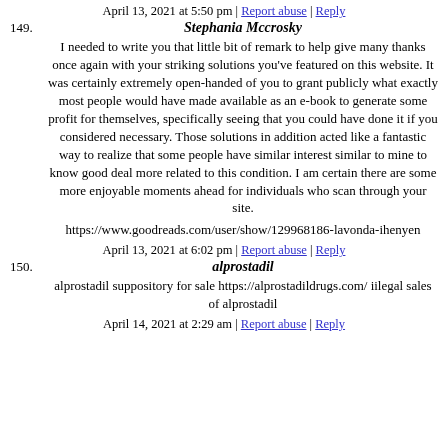April 13, 2021 at 5:50 pm | Report abuse | Reply
149. Stephania Mccrosky
I needed to write you that little bit of remark to help give many thanks once again with your striking solutions you've featured on this website. It was certainly extremely open-handed of you to grant publicly what exactly most people would have made available as an e-book to generate some profit for themselves, specifically seeing that you could have done it if you considered necessary. Those solutions in addition acted like a fantastic way to realize that some people have similar interest similar to mine to know good deal more related to this condition. I am certain there are some more enjoyable moments ahead for individuals who scan through your site.
https://www.goodreads.com/user/show/129968186-lavonda-ihenyen
April 13, 2021 at 6:02 pm | Report abuse | Reply
150. alprostadil
alprostadil suppository for sale https://alprostadildrugs.com/ iilegal sales of alprostadil
April 14, 2021 at 2:29 am | Report abuse | Reply